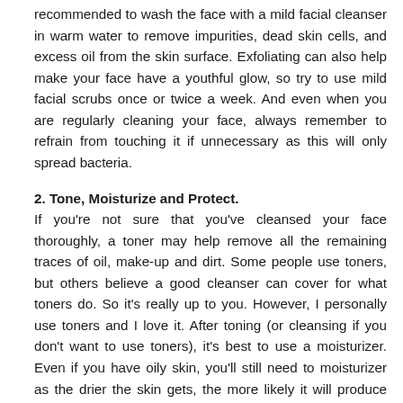recommended to wash the face with a mild facial cleanser in warm water to remove impurities, dead skin cells, and excess oil from the skin surface. Exfoliating can also help make your face have a youthful glow, so try to use mild facial scrubs once or twice a week. And even when you are regularly cleaning your face, always remember to refrain from touching it if unnecessary as this will only spread bacteria.
2. Tone, Moisturize and Protect.
If you're not sure that you've cleansed your face thoroughly, a toner may help remove all the remaining traces of oil, make-up and dirt. Some people use toners, but others believe a good cleanser can cover for what toners do. So it's really up to you. However, I personally use toners and I love it. After toning (or cleansing if you don't want to use toners), it's best to use a moisturizer. Even if you have oily skin, you'll still need to moisturizer as the drier the skin gets, the more likely it will produce more oils which can cause acne. Using sunblock during the day